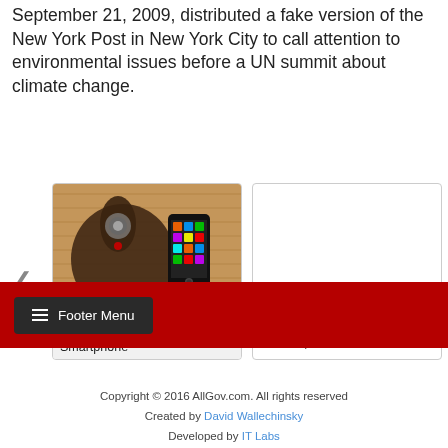September 21, 2009, distributed a fake version of the New York Post in New York City to call attention to environmental issues before a UN summit about climate change.
[Figure (photo): Photo of a shoe and a smartphone on a wooden surface, card labeled 'Get Smart Phone Meets Smartphone']
Get Smart Phone Meets Smartphone
[Figure (other): Empty white card labeled 'Bis Stop']
Bis Stop
Footer Menu
Copyright © 2016 AllGov.com. All rights reserved
Created by David Wallechinsky
Developed by IT Labs